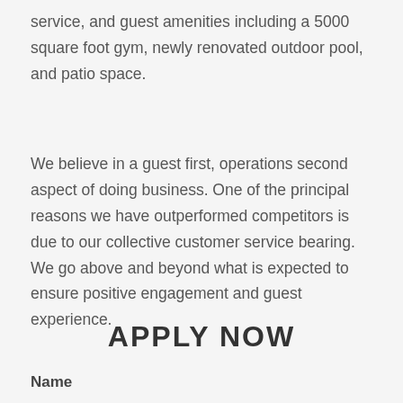service, and guest amenities including a 5000 square foot gym, newly renovated outdoor pool, and patio space.
We believe in a guest first, operations second aspect of doing business. One of the principal reasons we have outperformed competitors is due to our collective customer service bearing. We go above and beyond what is expected to ensure positive engagement and guest experience.
APPLY NOW
Name